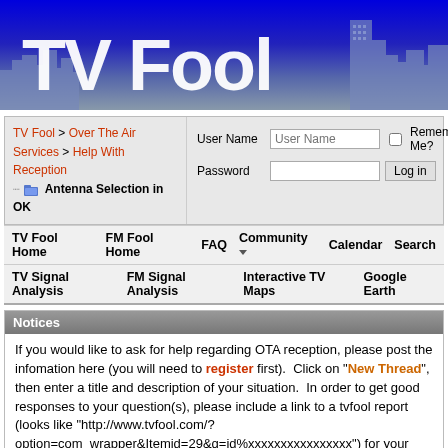[Figure (illustration): TV Fool website banner with city skyline silhouette and large white 'TV Fool' text on blue/purple gradient background]
TV Fool > Over The Air Services > Help With Reception
Antenna Selection in OK
User Name [input] Remember Me? [checkbox]
Password [input] Log in [button]
TV Fool Home  FM Fool Home  FAQ  Community  Calendar  Search
TV Signal Analysis  FM Signal Analysis  Interactive TV Maps  Google Earth
Notices
If you would like to ask for help regarding OTA reception, please post the infomation here (you will need to register first).  Click on "New Thread", then enter a title and description of your situation.  In order to get good responses to your question(s), please include a link to a tvfool report (looks like "http://www.tvfool.com/?option=com_wrapper&Itemid=29&q=id%xxxxxxxxxxxxxxxx") for your exact address.
For information on some common antenna, check out our